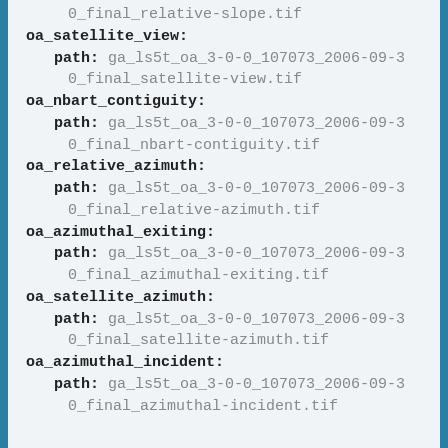0_final_relative-slope.tif
oa_satellite_view:
  path: ga_ls5t_oa_3-0-0_107073_2006-09-30_final_satellite-view.tif
oa_nbart_contiguity:
  path: ga_ls5t_oa_3-0-0_107073_2006-09-30_final_nbart-contiguity.tif
oa_relative_azimuth:
  path: ga_ls5t_oa_3-0-0_107073_2006-09-30_final_relative-azimuth.tif
oa_azimuthal_exiting:
  path: ga_ls5t_oa_3-0-0_107073_2006-09-30_final_azimuthal-exiting.tif
oa_satellite_azimuth:
  path: ga_ls5t_oa_3-0-0_107073_2006-09-30_final_satellite-azimuth.tif
oa_azimuthal_incident:
  path: ga_ls5t_oa_3-0-0_107073_2006-09-30_final_azimuthal-incident.tif